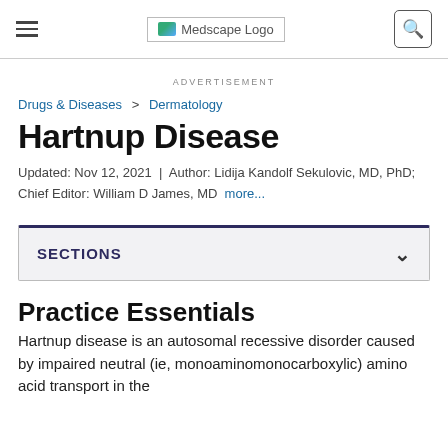Medscape Logo
ADVERTISEMENT
Drugs & Diseases > Dermatology
Hartnup Disease
Updated: Nov 12, 2021 | Author: Lidija Kandolf Sekulovic, MD, PhD; Chief Editor: William D James, MD more...
SECTIONS
Practice Essentials
Hartnup disease is an autosomal recessive disorder caused by impaired neutral (ie, monoaminomonocarboxylic) amino acid transport in the